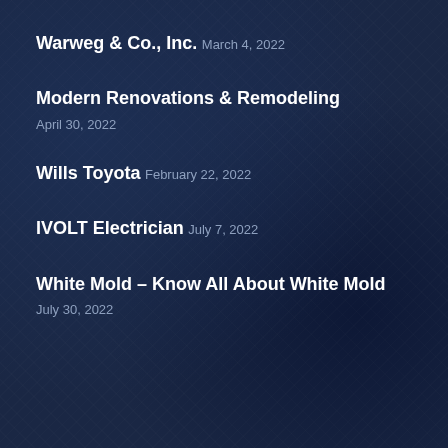Warweg & Co., Inc.
March 4, 2022
Modern Renovations & Remodeling
April 30, 2022
Wills Toyota
February 22, 2022
IVOLT Electrician
July 7, 2022
White Mold – Know All About White Mold
July 30, 2022